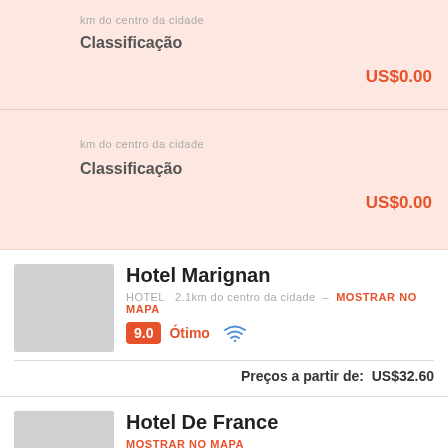km do centro da cidade
Classificação
US$0.00
km do centro da cidade
Classificação
US$0.00
Hotel Marignan
HOTEL  2.1km do centro da cidade – MOSTRAR NO MAPA
9.0  Ótimo
Preços a partir de:  US$32.60
Hotel De France
MOSTRAR NO MAPA